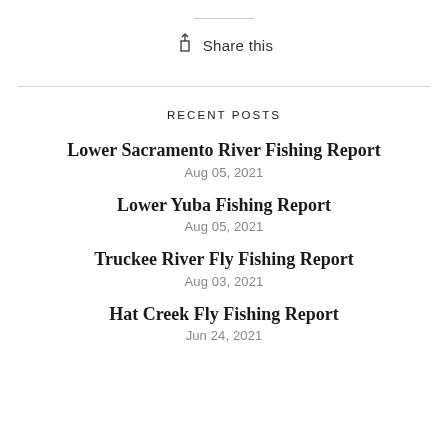Share this
RECENT POSTS
Lower Sacramento River Fishing Report
Aug 05, 2021
Lower Yuba Fishing Report
Aug 05, 2021
Truckee River Fly Fishing Report
Aug 03, 2021
Hat Creek Fly Fishing Report
Jun 24, 2021